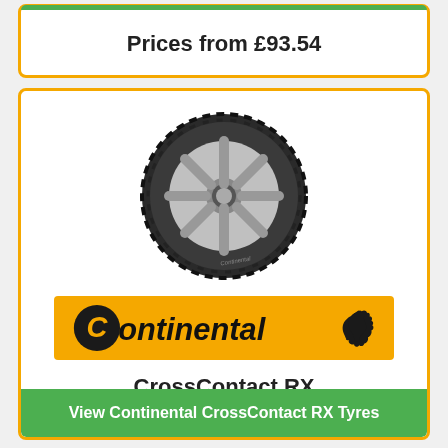Prices from £93.54
[Figure (photo): Continental CrossContact RX tyre product image showing a black tyre with silver alloy wheel design]
[Figure (logo): Continental brand logo on orange/yellow background with horse icon]
CrossContact RX
View Continental CrossContact RX Tyres